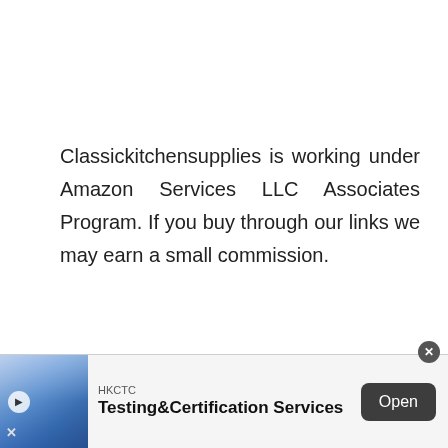Classickitchensupplies is working under Amazon Services LLC Associates Program. If you buy through our links we may earn a small commission.
[Figure (other): Advertisement banner for HKCTC Testing & Certification Services with an image on the left, text in the middle showing 'HKCTC Testing&Certification Services', and an 'Open' button on the right. A close button (X) is in the top right corner.]